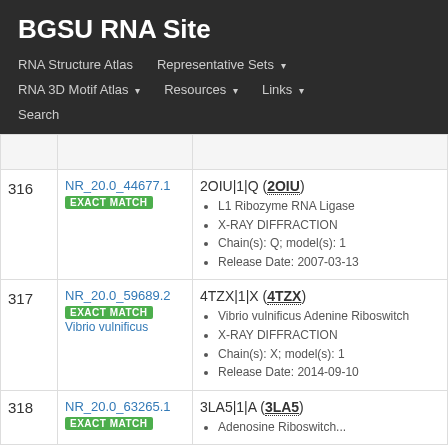BGSU RNA Site
RNA Structure Atlas | Representative Sets ▾ | RNA 3D Motif Atlas ▾ | Resources ▾ | Links ▾ | Search
| # | ID / Match | Entry Details |
| --- | --- | --- |
| 316 | NR_20.0_44677.1
EXACT MATCH | 2OIU|1|Q (2OIU)
• L1 Ribozyme RNA Ligase
• X-RAY DIFFRACTION
• Chain(s): Q; model(s): 1
• Release Date: 2007-03-13 |
| 317 | NR_20.0_59689.2
EXACT MATCH
Vibrio vulnificus | 4TZX|1|X (4TZX)
• Vibrio vulnificus Adenine Riboswitch
• X-RAY DIFFRACTION
• Chain(s): X; model(s): 1
• Release Date: 2014-09-10 |
| 318 | NR_20.0_63265.1
EXACT MATCH | 3LA5|1|A (3LA5)
• Adenosine Riboswitch... |